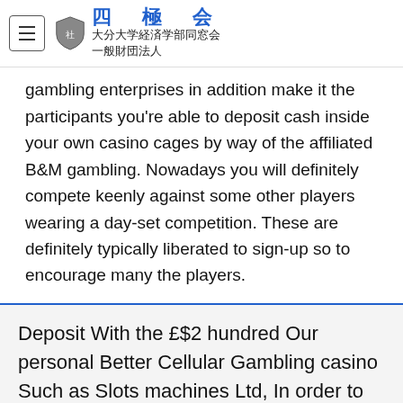四極会 大分大学経済学部同窓会 一般財団法人
gambling enterprises in addition make it the participants you're able to deposit cash inside your own casino cages by way of the affiliated B&M gambling. Nowadays you will definitely compete keenly against some other players wearing a day-set competition. These are definitely typically liberated to sign-up so to encourage many the players.
Deposit With the £$2 hundred Our personal Better Cellular Gambling casino Such as Slots machines Ltd, In order to Fool around with Possibly $£500